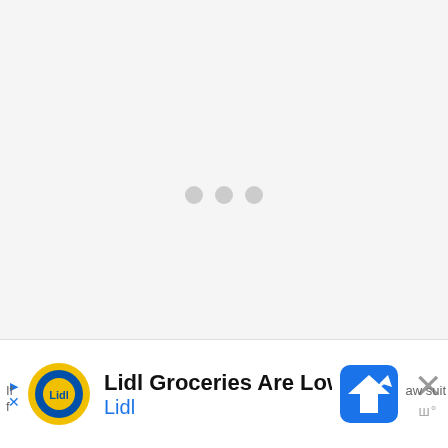[Figure (other): Loading indicator with three gray dots centered on a light gray background]
[Figure (screenshot): Advertisement banner: Lidl Groceries Are Low-Priced with Lidl logo, navigation/directions icon, and a close (X) button. Partial text visible at bottom left 'If' and bottom right 'aw suit' and partial 'f' below.]